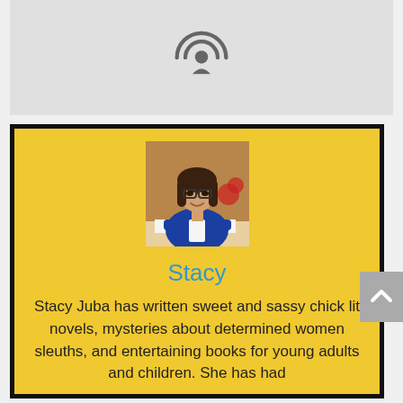[Figure (logo): Podcast microphone/radio icon in gray on light gray background]
[Figure (photo): Photo of Stacy Juba, a woman wearing glasses and a blue blazer, leaning over a table]
Stacy
Stacy Juba has written sweet and sassy chick lit novels, mysteries about determined women sleuths, and entertaining books for young adults and children. She has had